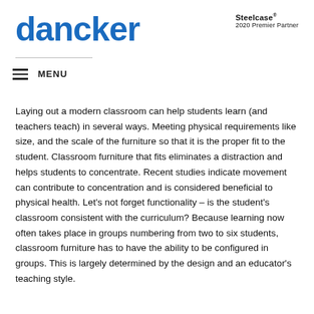dancker
[Figure (logo): Steelcase 2020 Premier Partner logo]
MENU
Laying out a modern classroom can help students learn (and teachers teach) in several ways. Meeting physical requirements like size, and the scale of the furniture so that it is the proper fit to the student. Classroom furniture that fits eliminates a distraction and helps students to concentrate. Recent studies indicate movement can contribute to concentration and is considered beneficial to physical health. Let's not forget functionality – is the student's classroom consistent with the curriculum? Because learning now often takes place in groups numbering from two to six students, classroom furniture has to have the ability to be configured in groups. This is largely determined by the design and an educator's teaching style.